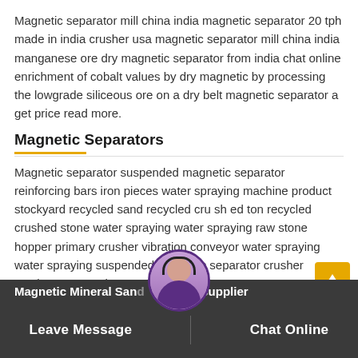Magnetic separator mill china india magnetic separator 20 tph made in india crusher usa magnetic separator mill china india manganese ore dry magnetic separator from india chat online enrichment of cobalt values by dry magnetic by processing the lowgrade siliceous ore on a dry belt magnetic separator a get price read more.
Magnetic Separators
Magnetic separator suspended magnetic separator reinforcing bars iron pieces water spraying machine product stockyard recycled sand recycled cru sh ed ton recycled crushed stone water spraying water spraying raw stone hopper primary crusher vibration conveyor water spraying water spraying suspended magnetic separator crusher combu and.
Magnetic Mineral Sand ator Supplier